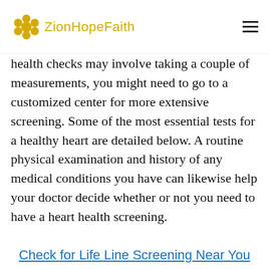ZionHopeFaith
health checks may involve taking a couple of measurements, you might need to go to a customized center for more extensive screening. Some of the most essential tests for a healthy heart are detailed below. A routine physical examination and history of any medical conditions you have can likewise help your doctor decide whether or not you need to have a heart health screening.
Check for Life Line Screening Near You